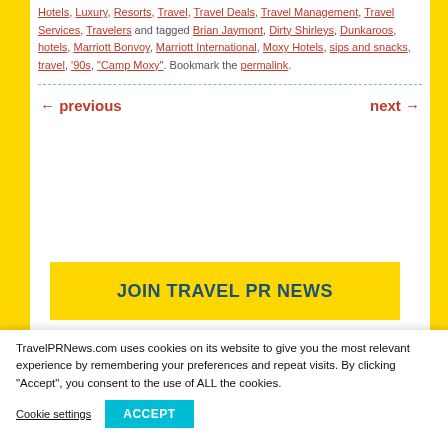Hotels, Luxury, Resorts, Travel, Travel Deals, Travel Management, Travel Services, Travelers and tagged Brian Jaymont, Dirty Shirleys, Dunkaroos, hotels, Marriott Bonvoy, Marriott International, Moxy Hotels, sips and snacks, travel, '90s, "Camp Moxy". Bookmark the permalink.
← previous   next →
JOIN TRAVEL PR NEWS
TravelPRNews.com uses cookies on its website to give you the most relevant experience by remembering your preferences and repeat visits. By clicking "Accept", you consent to the use of ALL the cookies.
Cookie settings   ACCEPT